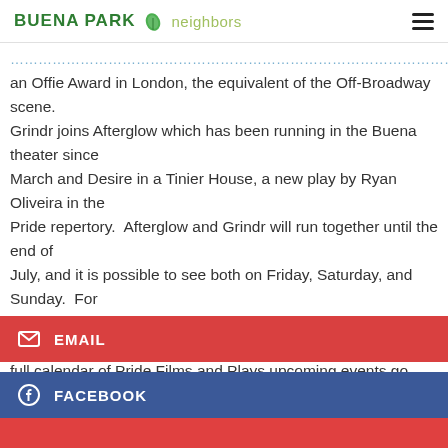BUENA PARK neighbors
an Offie Award in London, the equivalent of the Off-Broadway scene. Grindr joins Afterglow which has been running in the Buena theater since March and Desire in a Tinier House, a new play by Ryan Oliveira in the Pride repertory. Afterglow and Grindr will run together until the end of July, and it is possible to see both on Friday, Saturday, and Sunday. For details call 773-332-0568 or visit www.pridefilmsandplays.com. For a full calendar of Pride Films and Plays upcoming events go here.
EMAIL
FACEBOOK